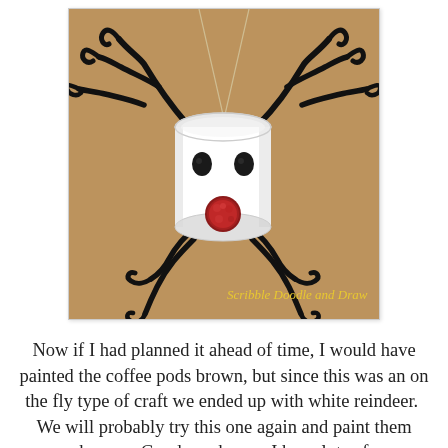[Figure (photo): A craft reindeer made from a white coffee pod (K-cup), decorated with black pipe cleaners twisted as antlers and legs, black oval eyes, and a red pom-pom nose, hanging against a brown cardboard background. Yellow text in the bottom-right reads 'Scribble Doodle and Draw'.]
Now if I had planned it ahead of time, I would have painted the coffee pods brown, but since this was an on the fly type of craft we ended up with white reindeer.  We will probably try this one again and paint them brown.  Goodness knows I have lots of